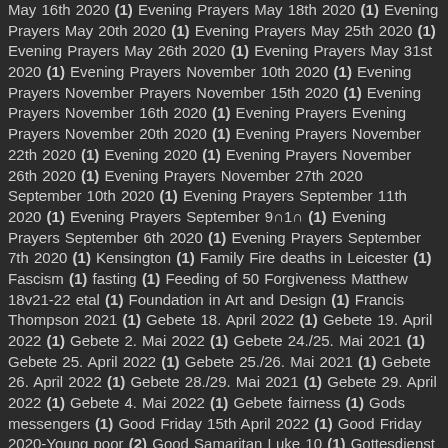May 16th 2020 (1) Evening Prayers May 18th 2020 (1) Evening Prayers May 20th 2020 (1) Evening Prayers May 25th 2020 (1) Evening Prayers May 26th 2020 (1) Evening Prayers May 31st 2020 (1) Evening Prayers November 10th 2020 (1) Evening Prayers November Prayers November 15th 2020 (1) Evening Prayers November 16th 2020 (1) Evening Prayers Evening Prayers November 20th 2020 (1) Evening Prayers November 22th 2020 (1) Evening 2020 (1) Evening Prayers November 26th 2020 (1) Evening Prayers November 27th 2020 September 10th 2020 (1) Evening Prayers September 11th 2020 (1) Evening Prayers September 9∩1∩ (1) Evening Prayers September 6th 2020 (1) Evening Prayers September 7th 2020 (1) Kensington (1) Family Fire deaths in Leicester (1) Fascism (1) fasting (1) Feeding of 5000 Forgiveness Matthew 18v21-22 etal (1) Foundation in Art and Design (1) Francis Thompson 2021 (1) Gebete 18. April 2022 (1) Gebete 19. April 2022 (1) Gebete 2. Mai 2022 (1) Gebete 24./25. Mai 2021 (1) Gebete 25. April 2022 (1) Gebete 25./26. Mai 2021 (1) Gebete 26. April 2022 (1) Gebete 28./29. Mai 2021 (1) Gebete 29. April 2022 (1) Gebete 4. Mai 2022 (1) Gebete fairness (1) Gods messengers (1) Good Friday 15th April 2022 (1) Good Friday 2020-Young poor (2) Good Samaritan Luke 10 (1) Gottesdienst 3. April 2022 Johannes 12v1-8 (1) gr Halloween (1) Hannah Arendt (1) Harvest (4) Harvest Genesis 1v1-121 John 4 v 7-12 (1) Helaing of the man born blind (1) Herod and Herodotus (1) hidden treasure (1) Hitler (1) Holy Monday 6th April 2020 (1) Holy Week Thursday (2) Holy Week Tuesday 12th April 2022 (1) Hope (1) Hope for the Hopeless (1) Hope in dark times (1) hospitality (1) How many Loaves am the Light of the world (1) I am the Resurrection and the Life (1) I am the True Vine (1) War (1) Inspired by love and anger. (1) Inter Faith (1) Invisibility (1) Ioan 10v11-30 (1) Isaiah and division (1) Jesus and Forgiveness (1) Jesus and inter-faith dialogue (1) Jesus and woman (1) Jesus and the Samaritan woman at the well (1) Jesus and the Vine (1) Jesus the temple (1) Jesus eats a piece of fish Luke 24 (1) Jesus heals the woman bent double loses his temper with the bankers (1) Jesus manifesto (1) Jesus the carpenter (1) Jesus